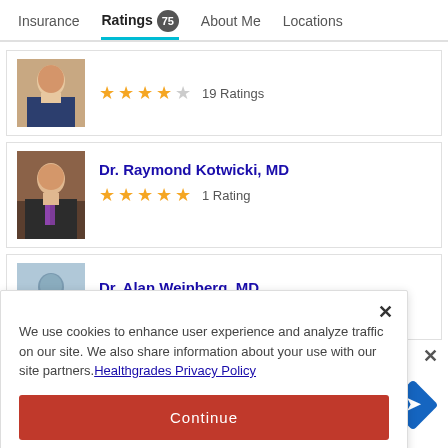Insurance  Ratings 75  About Me  Locations
[Figure (photo): Doctor photo - woman with brown hair]
★★★★☆ 19 Ratings
[Figure (photo): Dr. Raymond Kotwicki photo - man in suit]
Dr. Raymond Kotwicki, MD ★★★★★ 1 Rating
[Figure (photo): Dr. Alan Weinberg placeholder silhouette]
Dr. Alan Weinberg, MD
We use cookies to enhance user experience and analyze traffic on our site. We also share information about your use with our site partners. Healthgrades Privacy Policy
Continue
Access my Privacy Preferences